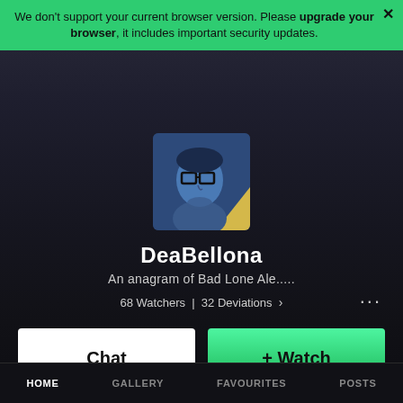We don't support your current browser version. Please upgrade your browser, it includes important security updates.
[Figure (illustration): DeviantArt user profile avatar: a stylized illustrated portrait of a person in profile view with blue/grey tones and glasses, on a dark background. Square with rounded corners.]
DeaBellona
An anagram of Bad Lone Ale.....
68 Watchers  |  32 Deviations  >  ...
Chat
+ Watch
HOME   GALLERY   FAVOURITES   POSTS